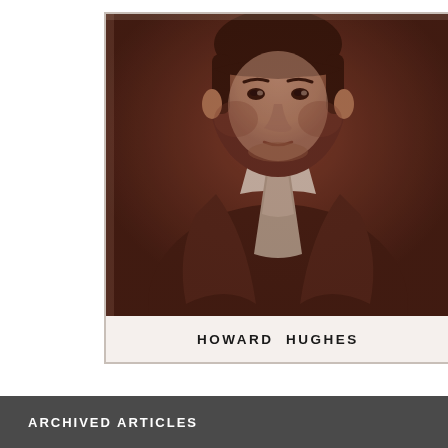[Figure (photo): Sepia-toned portrait photograph of Howard Hughes, showing him from the chest up wearing a dark suit with a light shirt and tie, head slightly turned, on a worn trading card with white border]
HOWARD HUGHES
ARCHIVED ARTICLES